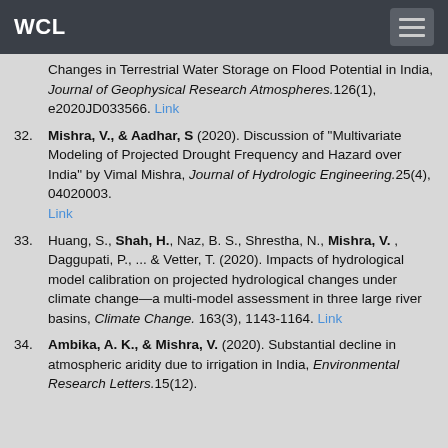WCL
Changes in Terrestrial Water Storage on Flood Potential in India, Journal of Geophysical Research Atmospheres.126(1), e2020JD033566. Link
32. Mishra, V., & Aadhar, S (2020). Discussion of "Multivariate Modeling of Projected Drought Frequency and Hazard over India" by Vimal Mishra, Journal of Hydrologic Engineering.25(4), 04020003. Link
33. Huang, S., Shah, H., Naz, B. S., Shrestha, N., Mishra, V. , Daggupati, P., ... & Vetter, T. (2020). Impacts of hydrological model calibration on projected hydrological changes under climate change—a multi-model assessment in three large river basins, Climate Change. 163(3), 1143-1164. Link
34. Ambika, A. K., & Mishra, V. (2020). Substantial decline in atmospheric aridity due to irrigation in India, Environmental Research Letters.15(12).